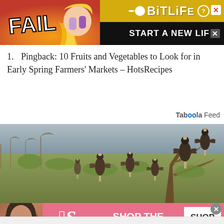[Figure (photo): Top banner advertisement for BitLife mobile game. Left side shows red/orange fire background with 'FAIL' text and cartoon character. Right side shows BitLife logo in yellow/black with 'START A NEW LIFE' text.]
Pingback: 10 Fruits and Vegetables to Look for in Early Spring Farmers' Markets – HotsRecipes
Taboola Feed
[Figure (photo): Wide landscape photograph of a group of vultures (birds) in dry African bush/scrubland. Multiple large dark birds are visible among sparse trees and shrubs.]
[Figure (photo): Victoria's Secret advertisement banner. Pink background with VS logo, model on left, 'SHOP THE COLLECTION' text in center, and 'SHOP NOW' white button on right.]